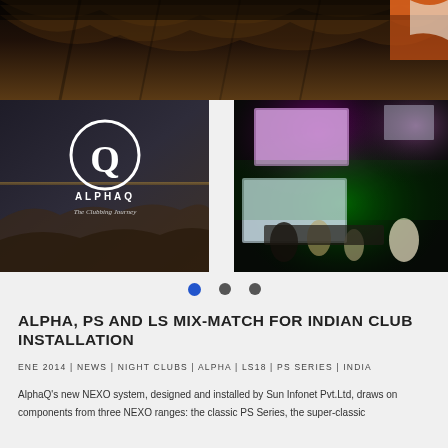[Figure (photo): Dark venue/event space with draped fabric ceiling in warm brown/gold tones]
[Figure (photo): Left: AlphaQ logo (stylized OQ circle) on dark background with tagline 'The Clubbing Journey'. Right: DJ booth scene with colorful stage lighting (purple, green), screens, and performers.]
ALPHA, PS AND LS MIX-MATCH FOR INDIAN CLUB INSTALLATION
ENE 2014 | NEWS | NIGHT CLUBS | ALPHA | LS18 | PS SERIES | INDIA
AlphaQ's new NEXO system, designed and installed by Sun Infonet Pvt.Ltd, draws on components from three NEXO ranges: the classic PS Series, the super-classic